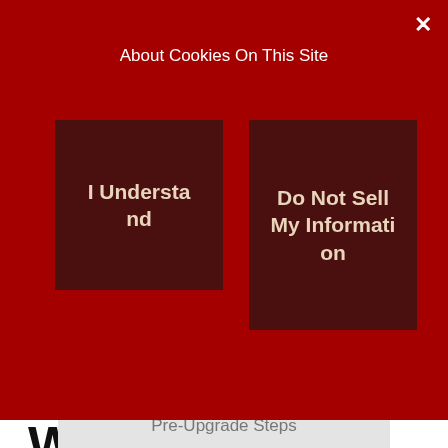About Cookies On This Site
I Understand
Do Not Sell My Information
Windows 10 Upgrade Step-by-Step User Guide
Install Methods
Pre-Upgrade Steps